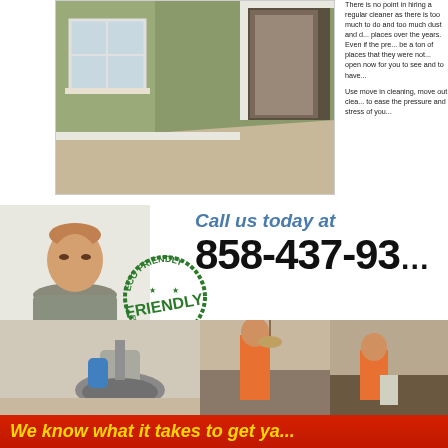[Figure (photo): Empty room with olive green walls, white trim, beige carpet, window with natural light, and open doorway with dark door frames]
There is no point in hiring a regular cleaner as there is too much to do and too much dust and dirt that has built up in places over the years. Even if the previous owner cleaned, be a ton of places that they were not able to get to that are open now for you to see and to have cleaned.
Use move in cleaning, move out cleaning services today to ease the pressure and stress of you...
Call us today at
858-437-93...
[Figure (photo): Man in gray shirt looking down at clipboard or paper, with eco friendly stamps overlaid]
[Figure (photo): Strip of three photos: floor cleaning machine, man in orange cleaning a bedroom, man in orange working on floor]
We know what it takes to get ya...